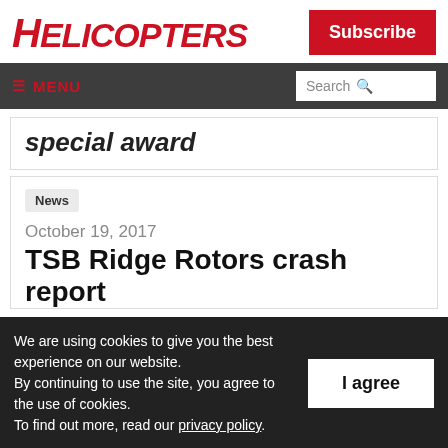HELICOPTERS
Subscribe
≡ MENU  Search 🔍
special award
News
October 19, 2017
TSB Ridge Rotors crash report
We are using cookies to give you the best experience on our website. By continuing to use the site, you agree to the use of cookies. To find out more, read our privacy policy.
I agree